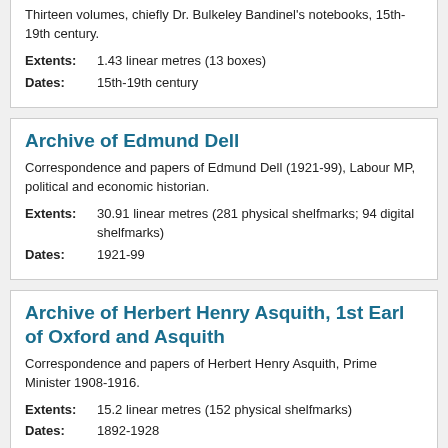Thirteen volumes, chiefly Dr. Bulkeley Bandinel's notebooks, 15th-19th century.
Extents: 1.43 linear metres (13 boxes)
Dates: 15th-19th century
Archive of Edmund Dell
Correspondence and papers of Edmund Dell (1921-99), Labour MP, political and economic historian.
Extents: 30.91 linear metres (281 physical shelfmarks; 94 digital shelfmarks)
Dates: 1921-99
Archive of Herbert Henry Asquith, 1st Earl of Oxford and Asquith
Correspondence and papers of Herbert Henry Asquith, Prime Minister 1908-1916.
Extents: 15.2 linear metres (152 physical shelfmarks)
Dates: 1892-1928